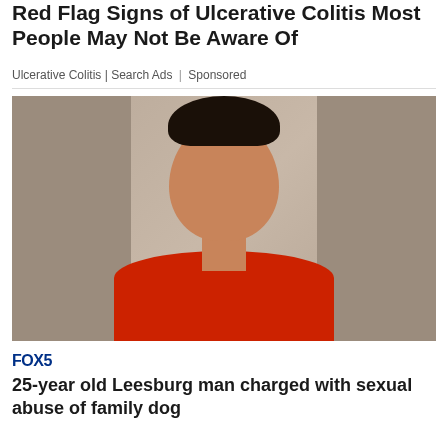Red Flag Signs of Ulcerative Colitis Most People May Not Be Aware Of
Ulcerative Colitis | Search Ads | Sponsored
[Figure (photo): Mugshot photo of a young Hispanic man in a red shirt against a gray background]
FOX5
25-year old Leesburg man charged with sexual abuse of family dog